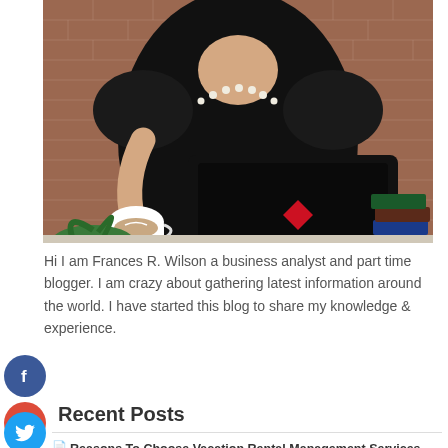[Figure (photo): Woman in black top with pearl necklace sitting at a table with a laptop and coffee cup, brick wall background]
Hi I am Frances R. Wilson a business analyst and part time blogger. I am crazy about gathering latest information around the world. I have started this blog to share my knowledge & experience.
Recent Posts
Reasons To Choose Vacation Rental Management Services
Get To Know About Different Types Of Roofing Services In Newcastle
What is the Ford Everest Nudge Bar?